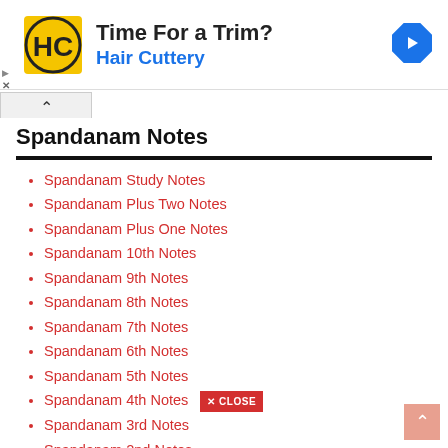[Figure (other): Hair Cuttery advertisement banner with logo, 'Time For a Trim?' text, and navigation arrow icon]
Spandanam Notes
Spandanam Study Notes
Spandanam Plus Two Notes
Spandanam Plus One Notes
Spandanam 10th Notes
Spandanam 9th Notes
Spandanam 8th Notes
Spandanam 7th Notes
Spandanam 6th Notes
Spandanam 5th Notes
Spandanam 4th Notes
Spandanam 3rd Notes
Spandanam 2nd Notes
Spandanam 1st Notes